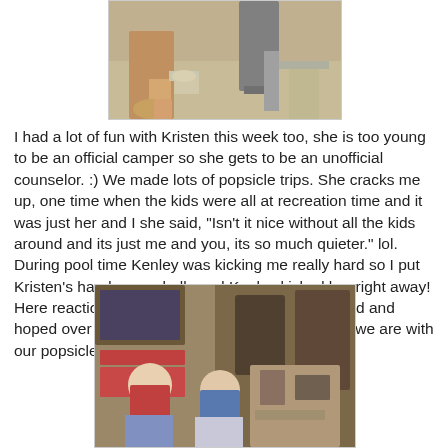[Figure (photo): Partial photo showing legs and feet of people standing on a light-colored floor, cropped view]
I had a lot of fun with Kristen this week too, she is too young to be an official camper so she gets to be an unofficial counselor. :) We made lots of popsicle trips. She cracks me up, one time when the kids were all at recreation time and it was just her and I she said, "Isn't it nice without all the kids around and its just me and you, its so much quieter." lol. During pool time Kenley was kicking me really hard so I put Kristen's hand on my belly and Kenley kicked her right away! Here reaction was so precious! She was so excited and hoped over to Melissa to tell her all about it! Here we are with our popsicles. :)
[Figure (photo): Photo of two children sitting and smiling inside what appears to be a camp cabin or room with shelves and supplies in the background]